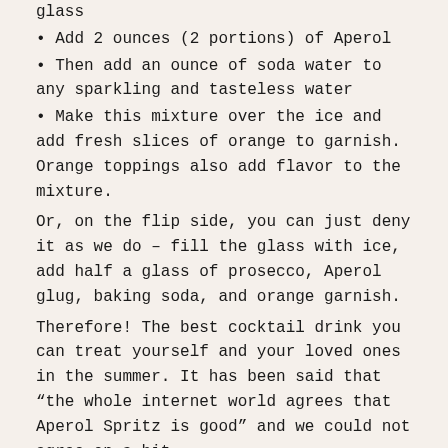glass
Add 2 ounces (2 portions) of Aperol
Then add an ounce of soda water to any sparkling and tasteless water
Make this mixture over the ice and add fresh slices of orange to garnish. Orange toppings also add flavor to the mixture.
Or, on the flip side, you can just deny it as we do – fill the glass with ice, add half a glass of prosecco, Aperol glug, baking soda, and orange garnish.
Therefore! The best cocktail drink you can treat yourself and your loved ones in the summer. It has been said that “the whole internet world agrees that Aperol Spritz is good” and we could not agree on a bit.